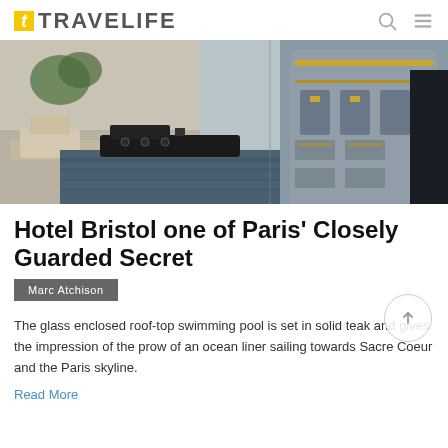TRAVELIFE
[Figure (photo): Aerial/side view of Paris waterway with a dark boat moored near ornate stone bridge and classical architecture with gold details]
Hotel Bristol one of Paris' Closely Guarded Secret
Marc Atchison
The glass enclosed roof-top swimming pool is set in solid teak and gives the impression of the prow of an ocean liner sailing towards Sacre Coeur and the Paris skyline.
Read More